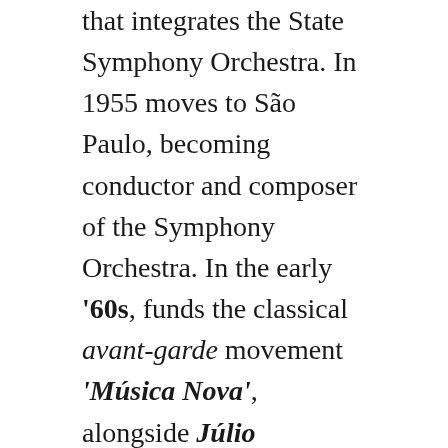that integrates the State Symphony Orchestra. In 1955 moves to São Paulo, becoming conductor and composer of the Symphony Orchestra. In the early '60s, funds the classical avant-garde movement 'Música Nova', alongside Júlio Medaglia, Damiano Cozzella, Régis Duprat e Gilberto Mendes.
still on the '60s, travels to Europe, where he studied in France, with the composer Pierre Boulez, and in Germany with Karlheinz Stockhausen. (!)
Back in Brazil, he dedicated to creating experimental pieces on the computer, with Damiano Cozzella, as guests at the University...